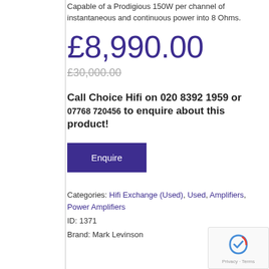Capable of a Prodigious 150W per channel of instantaneous and continuous power into 8 Ohms.
£8,990.00
£30,000.00
Call Choice Hifi on 020 8392 1959 or 07768 720456  to enquire about this product!
Enquire
Categories: Hifi Exchange (Used), Used, Amplifiers, Power Amplifiers
ID: 1371
Brand: Mark Levinson